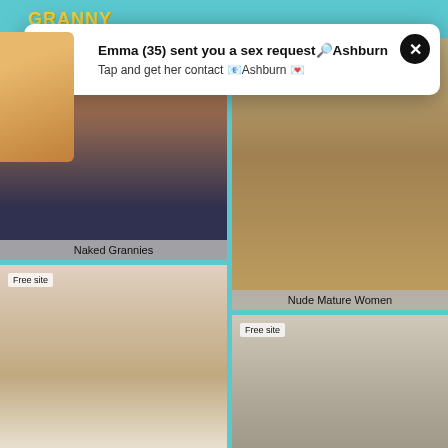[Figure (screenshot): Website screenshot of adult content site with grid of thumbnail images and popup advertisement overlay]
GRANNY
Emma (35) sent you a sex requestðAshburn
Tap and get her contact 📧Ashburn 💌
Naked Grannies
Nude Mature Women
Free site
Free site